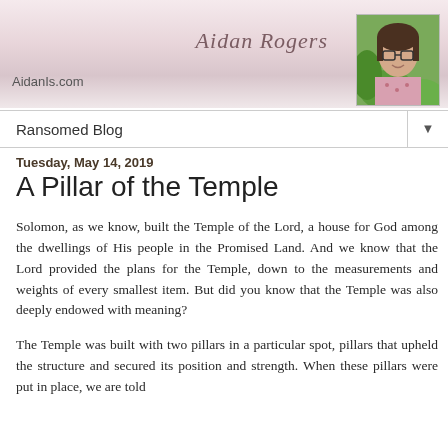Aidan Rogers — AidanIs.com
Ransomed Blog
Tuesday, May 14, 2019
A Pillar of the Temple
Solomon, as we know, built the Temple of the Lord, a house for God among the dwellings of His people in the Promised Land. And we know that the Lord provided the plans for the Temple, down to the measurements and weights of every smallest item. But did you know that the Temple was also deeply endowed with meaning?
The Temple was built with two pillars in a particular spot, pillars that upheld the structure and secured its position and strength. When these pillars were put in place, we are told